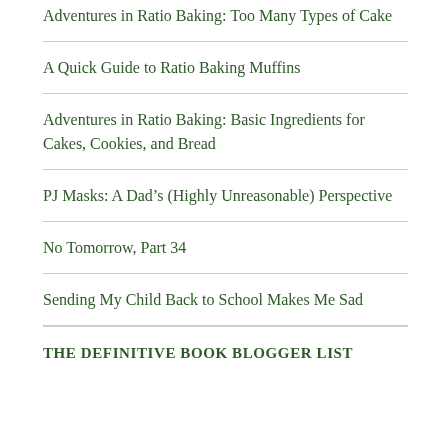Adventures in Ratio Baking: Too Many Types of Cake
A Quick Guide to Ratio Baking Muffins
Adventures in Ratio Baking: Basic Ingredients for Cakes, Cookies, and Bread
PJ Masks: A Dad's (Highly Unreasonable) Perspective
No Tomorrow, Part 34
Sending My Child Back to School Makes Me Sad
The Definitive Book Blogger List